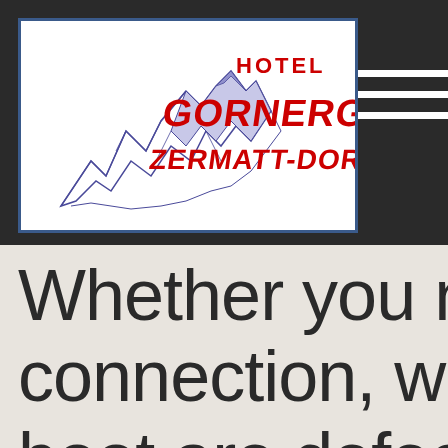[Figure (logo): Hotel Gornergrat Zermatt-Dorf logo with Matterhorn mountain illustration in blue/purple ink on white background with blue border. Text 'HOTEL' in red, 'GORNERGRAT' in large red letters, 'ZERMATT-DORF' in red below.]
Whether you need connection, whether boot are defect or mountain guide in